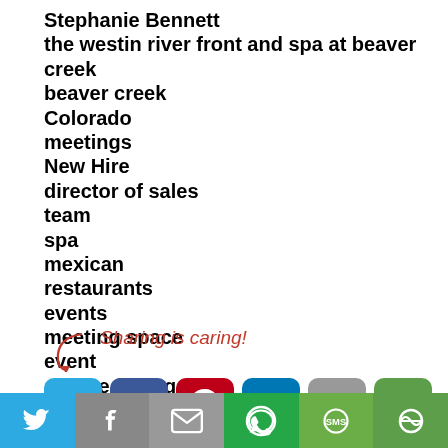Stephanie Bennett
the westin river front and spa at beaver creek
beaver creek
Colorado
meetings
New Hire
director of sales
team
spa
mexican
restaurants
events
meeting space
event
square footage
Sharing is caring!
Read more
[Figure (infographic): Social sharing buttons: Twitter, Facebook, Pinterest, LinkedIn, Email, More. Bottom bar: Twitter, Facebook, Email, WhatsApp, SMS, More.]